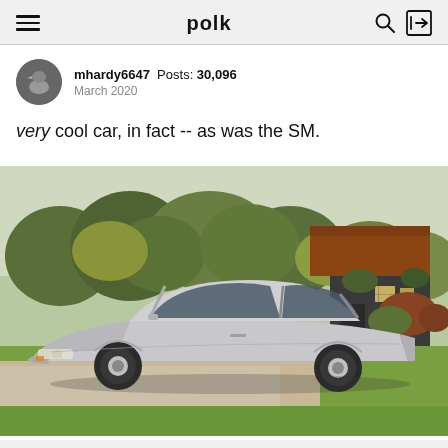polk
mhardy6647  Posts: 30,096  March 2020
very cool car, in fact -- as was the SM.
[Figure (photo): A silver Citroën SM sports car parked on a driveway with green lawn, garden shrubs and hedging, and a rural barn/house with red-tiled roof in the background.]